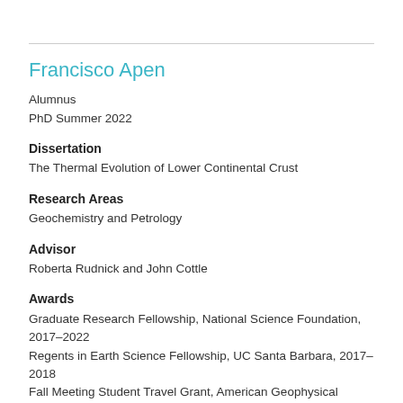Francisco Apen
Alumnus
PhD Summer 2022
Dissertation
The Thermal Evolution of Lower Continental Crust
Research Areas
Geochemistry and Petrology
Advisor
Roberta Rudnick and John Cottle
Awards
Graduate Research Fellowship, National Science Foundation, 2017–2022
Regents in Earth Science Fellowship, UC Santa Barbara, 2017–2018
Fall Meeting Student Travel Grant, American Geophysical Union, 2017
On To the Future Scholarship, Geological Society of